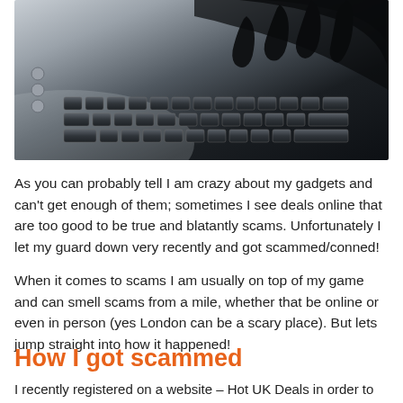[Figure (photo): Close-up photo of a hand pressing keys on a laptop keyboard, shot in dark silhouette style with dramatic lighting]
As you can probably tell I am crazy about my gadgets and can't get enough of them; sometimes I see deals online that are too good to be true and blatantly scams. Unfortunately I let my guard down very recently and got scammed/conned!
When it comes to scams I am usually on top of my game and can smell scams from a mile, whether that be online or even in person (yes London can be a scary place). But lets jump straight into how it happened!
How I got scammed
I recently registered on a website – Hot UK Deals in order to